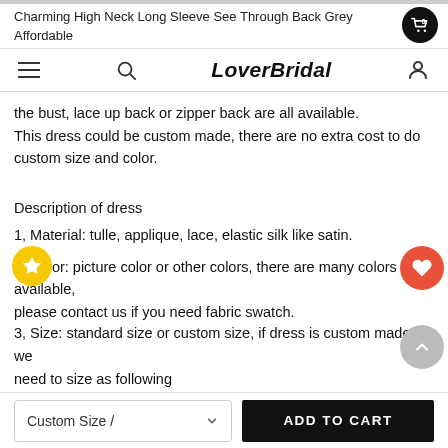Charming High Neck Long Sleeve See Through Back Grey Affordable Long Prom Dress Gown WG366
LoverBridal
the bust, lace up back or zipper back are all available.
This dress could be custom made, there are no extra cost to do custom size and color.
Description of dress
1, Material: tulle, applique, lace, elastic silk like satin.
2, Color: picture color or other colors, there are many colors available, please contact us if you need fabric swatch.
3, Size: standard size or custom size, if dress is custom made, we need to size as following
bust______ cm/inch
waist______ cm/inch